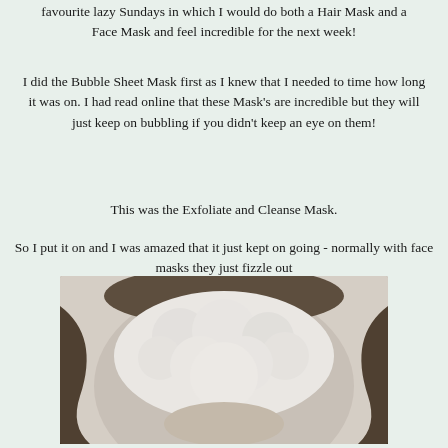favourite lazy Sundays in which I would do both a Hair Mask and a Face Mask and feel incredible for the next week!
I did the Bubble Sheet Mask first as I knew that I needed to time how long it was on. I had read online that these Mask's are incredible but they will just keep on bubbling if you didn't keep an eye on them!
This was the Exfoliate and Cleanse Mask.
So I put it on and I was amazed that it just kept on going - normally with face masks they just fizzle out
[Figure (photo): Close-up photo of a person wearing a bubbling white face mask covering most of their face, shown from above]